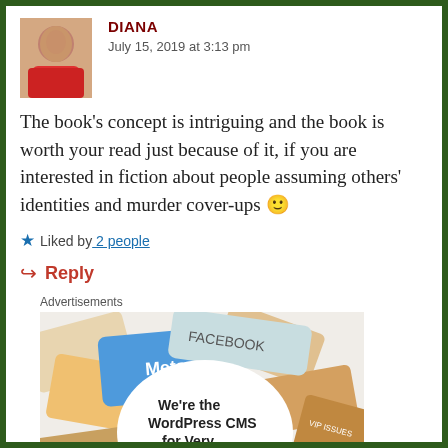[Figure (photo): Avatar photo of Diana, a person wearing a red shirt]
DIANA
July 15, 2019 at 3:13 pm
The book's concept is intriguing and the book is worth your read just because of it, if you are interested in fiction about people assuming others' identities and murder cover-ups 🙂
★ Liked by 2 people
↪ Reply
Advertisements
[Figure (infographic): WordPress VIP advertisement showing social media brand logos (Meta, Facebook) and text: We're the WordPress CMS for Very Important Content, with WordPress VIP logo]